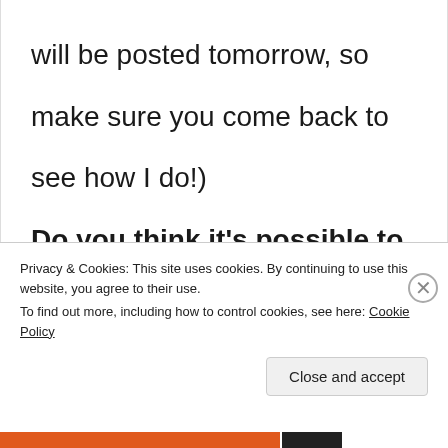will be posted tomorrow, so
make sure you come back to
see how I do!)
Do you think it's possible to go 24
Privacy & Cookies: This site uses cookies. By continuing to use this website, you agree to their use.
To find out more, including how to control cookies, see here: Cookie Policy
Close and accept